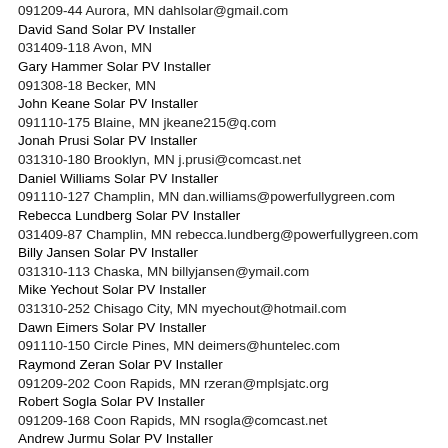091209-44 Aurora, MN dahlsolar@gmail.com
David Sand Solar PV Installer
031409-118 Avon, MN
Gary Hammer Solar PV Installer
091308-18 Becker, MN
John Keane Solar PV Installer
091110-175 Blaine, MN jkeane215@q.com
Jonah Prusi Solar PV Installer
031310-180 Brooklyn, MN j.prusi@comcast.net
Daniel Williams Solar PV Installer
091110-127 Champlin, MN dan.williams@powerfullygreen.com
Rebecca Lundberg Solar PV Installer
031409-87 Champlin, MN rebecca.lundberg@powerfullygreen.com
Billy Jansen Solar PV Installer
031310-113 Chaska, MN billyjansen@ymail.com
Mike Yechout Solar PV Installer
031310-252 Chisago City, MN myechout@hotmail.com
Dawn Eimers Solar PV Installer
091110-150 Circle Pines, MN deimers@huntelec.com
Raymond Zeran Solar PV Installer
091209-202 Coon Rapids, MN rzeran@mplsjatc.org
Robert Sogla Solar PV Installer
091209-168 Coon Rapids, MN rsogla@comcast.net
Andrew Jurmu Solar PV Installer
031310-120 Corcoran, MN jurmu67@hotmail.com